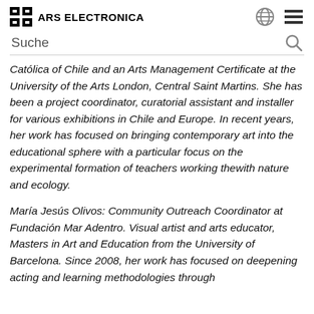ARS ELECTRONICA
Suche
Católica of Chile and an Arts Management Certificate at the University of the Arts London, Central Saint Martins. She has been a project coordinator, curatorial assistant and installer for various exhibitions in Chile and Europe. In recent years, her work has focused on bringing contemporary art into the educational sphere with a particular focus on the experimental formation of teachers working thewith nature and ecology.
María Jesús Olivos: Community Outreach Coordinator at Fundación Mar Adentro. Visual artist and arts educator, Masters in Art and Education from the University of Barcelona. Since 2008, her work has focused on deepening acting and learning methodologies through